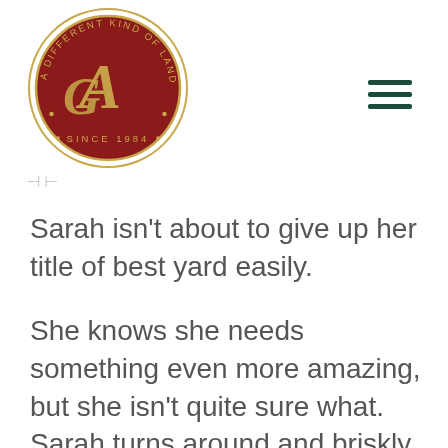[Figure (logo): Circular logo: dark red/maroon circle with gold stylized 'GA' monogram in center. Text around ring reads 'A DIFFERENT KIND OF LANDSCAPE CONTRACTOR' at top and 'SINCE 1984' at bottom. Decorative gold border.]
[Figure (other): Small decorative horizontal rule or icon element below logo]
[Figure (other): Hamburger menu icon (three horizontal dark green lines) in upper right area]
Sarah isn't about to give up her title of best yard easily.
She knows she needs something even more amazing, but she isn't quite sure what. Sarah turns around and briskly walks over to her computer.